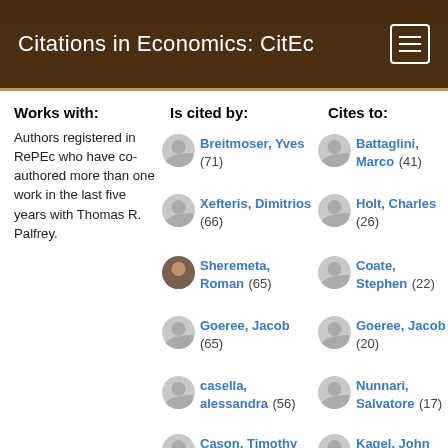Citations in Economics: CitEc
Works with:
Authors registered in RePEc who have co-authored more than one work in the last five years with Thomas R. Palfrey.
Is cited by:
Breitmoser, Yves (71)
Xefteris, Dimitrios (66)
Sheremeta, Roman (65)
Goeree, Jacob (65)
casella, alessandra (56)
Cason, Timothy (54)
Serrano,
Cites to:
Battaglini, Marco (41)
Holt, Charles (26)
Coate, Stephen (22)
Goeree, Jacob (20)
Nunnari, Salvatore (17)
Kagel, John (16)
Smith, Vernon